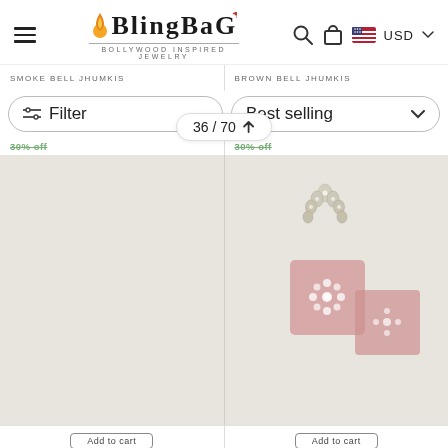BlingBag — Bollywood Inspired Jewelry
SMOKE BELL JHUMKIS
BROWN BELL JHUMKIS
Filter
Best selling
36 / 70
[Figure (photo): Left product: blank beige product card for Smoke Bell Jhumkis earrings]
[Figure (photo): Right product: Brown Bell Jhumkis earrings with ornate floral design on pink square base with pearl accents, shown on beige background]